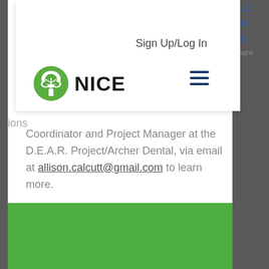Sign Up/Log In
[Figure (logo): NICE organization logo with green tree icon and bold 'NICE' text, plus hamburger menu icon]
ions Coordinator and Project Manager at the D.E.A.R. Project/Archer Dental, via email at allison.calcutt@gmail.com to learn more.
[Figure (photo): Green rectangular image/banner at the bottom of the page]